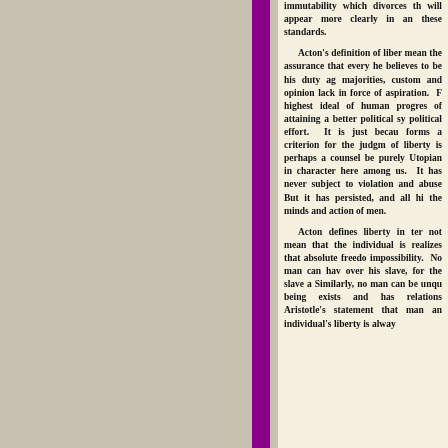immutability which divorces the will appear more clearly in an these standards. Acton's definition of liber mean the assurance that every he believes to be his duty ag majorities, custom and opinion lack in force of aspiration. F highest ideal of human progres of attaining a better political sy political effort. It is just becau forms a criterion for the judgm of liberty is perhaps a counsel be purely Utopian in character here among us. It has never subject to violation and abuse But it has persisted, and all hi the minds and action of men. Acton defines liberty in ter not mean that the individual is realizes that absolute freedo impossibility. No man can hav over his slave, for the slave a Similarly, no man can be unqu being exists and has relations Aristotle's statement that man an individual's liberty is alway